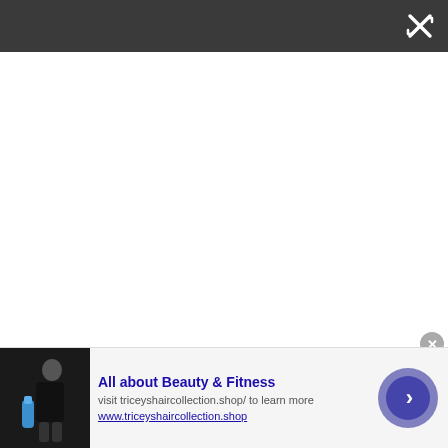[Figure (screenshot): Dark gray top navigation bar with a white close/expand icon (X with arrows) in the top-right corner]
"When the doctor diagnosed me, I started crying," she
[Figure (photo): Advertisement banner showing a person holding a blue water bottle wearing a black outfit, with text 'All about Beauty & Fitness', 'visit triceyshaircollection.shop/ to learn more', 'www.triceyshaircollection.shop', a purple arrow button, and a gray X close button]